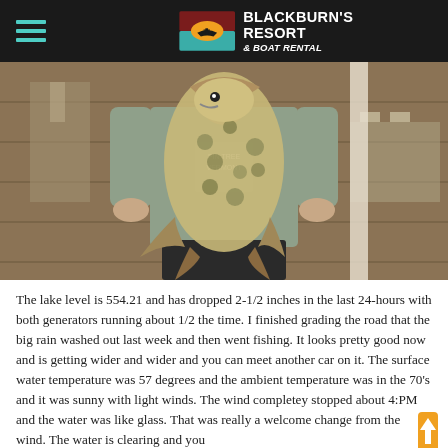BLACKBURN'S RESORT & BOAT RENTAL
[Figure (photo): Person standing on a wooden dock holding up a large crappie fish with both hands, wearing a gray t-shirt and black pants. The fish appears very large.]
The lake level is 554.21 and has dropped 2-1/2 inches in the last 24-hours with both generators running about 1/2 the time. I finished grading the road that the big rain washed out last week and then went fishing. It looks pretty good now and is getting wider and wider and you can meet another car on it. The surface water temperature was 57 degrees and the ambient temperature was in the 70's and it was sunny with light winds. The wind completey stopped about 4:PM and the water was like glass. That was really a welcome change from the wind. The water is clearing and you